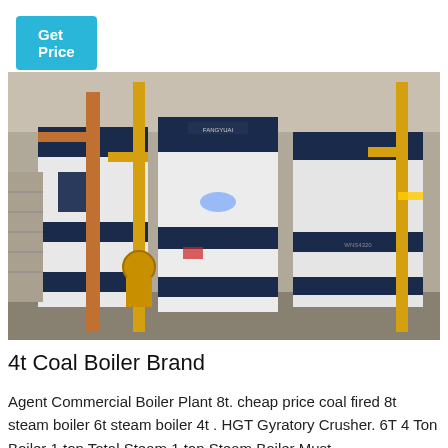[Figure (other): Get Price button - cyan/teal rounded rectangle button with white text]
[Figure (photo): Industrial boiler room with large white and navy blue boilers branded FANGYUAI, with orange/yellow gas pipes and yellow pipe fittings in an indoor plant facility.]
4t Coal Boiler Brand
Agent Commercial Boiler Plant 8t. cheap price coal fired 8t steam boiler 6t steam boiler 4t . HGT Gyratory Crusher. 6T 4 Ton Boiler 1 ton Total Steam 1 ton Steam Boiler Must